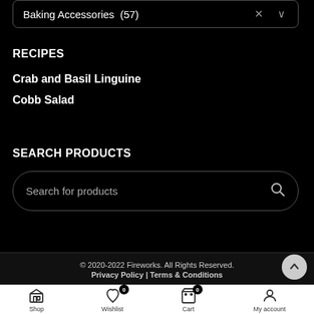Baking Accessories  (57)
RECIPES
Crab and Basil Linguine
Cobb Salad
SEARCH PRODUCTS
Search for products
© 2020-2022 Fireworks. All Rights Reserved.
Privacy Policy | Terms & Conditions
Shop
Wishlist
Cart
My account